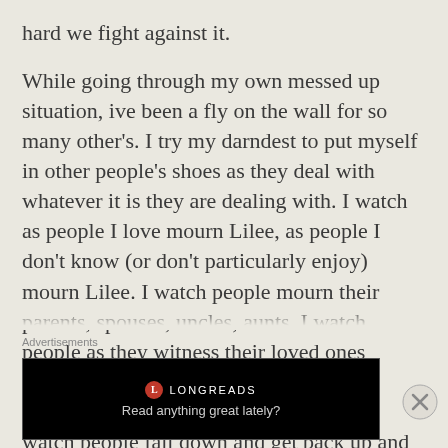hard we fight against it.
While going through my own messed up situation, ive been a fly on the wall for so many other's. I try my darndest to put myself in other people's shoes as they deal with whatever it is they are dealing with. I watch as people I love mourn Lilee, as people I don't know (or don't particularly enjoy) mourn Lilee. I watch people mourn their parents, spouses, uncles, aunts. I watch people as they witness their loved ones succumbing to disease, people I love changing from illness or circumstance. I watch people fall down and get back up and fall down again, as im struggling to get to my feet myself and I can't help
Advertisements
[Figure (other): Longreads advertisement banner with logo and tagline 'Read anything great lately?']